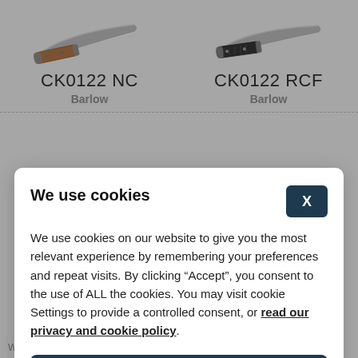[Figure (photo): Two folding knives partially visible at top of page. Left knife has a brown/tan wooden handle (CK0122 NC). Right knife has a dark/black textured handle (CK0122 RCF). Both have silver curved blades.]
CK0122 NC
Barlow
CK0122 RCF
Barlow
We use cookies
We use cookies on our website to give you the most relevant experience by remembering your preferences and repeat visits. By clicking “Accept”, you consent to the use of ALL the cookies. You may visit cookie Settings to provide a controlled consent, or read our privacy and cookie policy.
Accept all
Settings
Warhorse - M390 sintered steel -
Warhorse - M390 sintered steel -